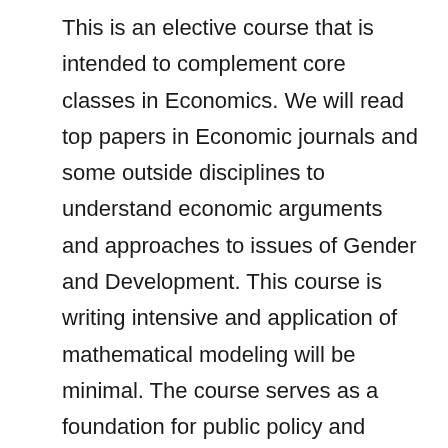This is an elective course that is intended to complement core classes in Economics. We will read top papers in Economic journals and some outside disciplines to understand economic arguments and approaches to issues of Gender and Development. This course is writing intensive and application of mathematical modeling will be minimal. The course serves as a foundation for public policy and academic research on topics of Gender and Development, including Culture and Macro-Level Perspectives, Education, Division of Labor, Health, Technology, Religion and Politics, Institutional Perspectives, and Conflict. (A. Gonzalez)